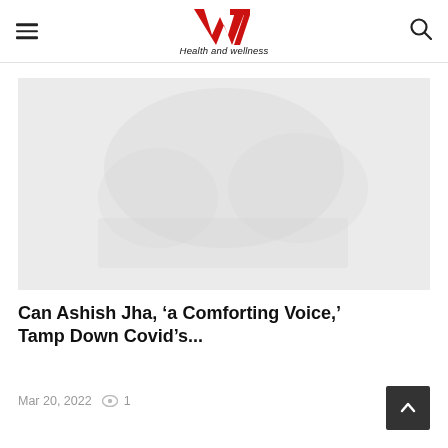W7 Health and wellness
[Figure (photo): Faded/light placeholder image for article thumbnail, light gray background with very faint indistinct shapes]
Can Ashish Jha, ‘a Comforting Voice,’ Tamp Down Covid’s...
Mar 20, 2022  1